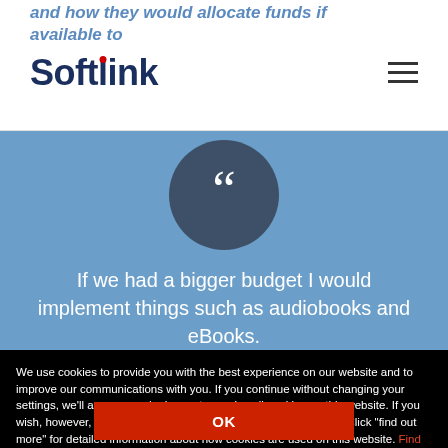and how they would allocate funds if available to
[Figure (logo): Softlink logo with red dot on lowercase i]
If we had a bigger budget I would implement things such as audiobooks and eBooks.
We use cookies to provide you with the best experience on our website and to improve our communications with you. If you continue without changing your settings, we'll assume you're happy to receive all cookies on this website. If you wish, however, you can change your cookie settings at any time. Click "find out more" for detailed information about how cookies are used on this website. Find out more
OK